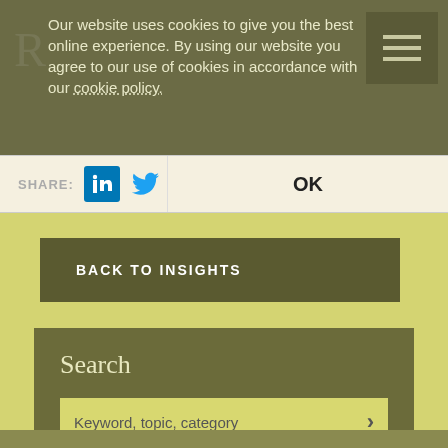Our website uses cookies to give you the best online experience. By using our website you agree to our use of cookies in accordance with our cookie policy.
SHARE:
OK
BACK TO INSIGHTS
Search
Keyword, topic, category